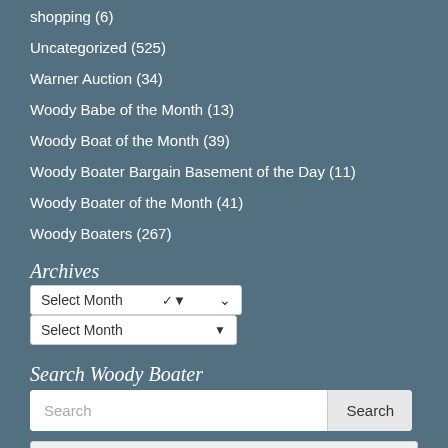shopping (6)
Uncategorized (525)
Warner Auction (34)
Woody Babe of the Month (13)
Woody Boat of the Month (39)
Woody Boater Bargain Basement of the Day (11)
Woody Boater of the Month (41)
Woody Boaters (267)
Archives
Select Month (dropdown)
Search Woody Boater
Search input and Search button
Advanced button
Social
[Figure (other): Social media icons: Facebook (blue), Twitter (light blue), YouTube (red)]